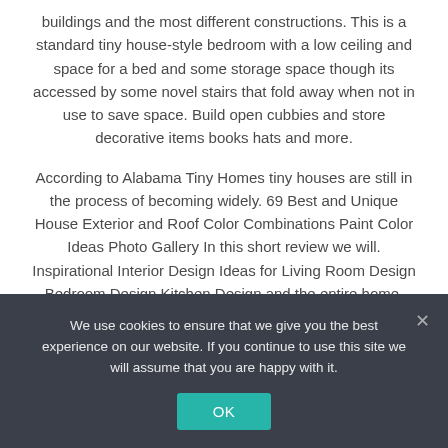buildings and the most different constructions. This is a standard tiny house-style bedroom with a low ceiling and space for a bed and some storage space though its accessed by some novel stairs that fold away when not in use to save space. Build open cubbies and store decorative items books hats and more.
According to Alabama Tiny Homes tiny houses are still in the process of becoming widely. 69 Best and Unique House Exterior and Roof Color Combinations Paint Color Ideas Photo Gallery In this short review we will. Inspirational Interior Design Ideas for Living Room Design Bedroom Design Kitchen Design and the entire home.
If you are confused how to unite the two spaces to be beautiful you can see laundry room ideas and bathroom in this article. Bureau Fraai a design firm from Amsterdam got rid of all doors walls and tiny rooms around the core of this small apartment. StorageStairs To The Loft
We use cookies to ensure that we give you the best experience on our website. If you continue to use this site we will assume that you are happy with it.